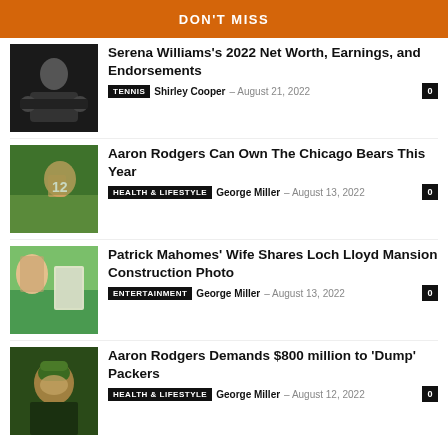DON'T MISS
Serena Williams's 2022 Net Worth, Earnings, and Endorsements
TENNIS  Shirley Cooper  –  August 21, 2022  0
Aaron Rodgers Can Own The Chicago Bears This Year
HEALTH & LIFESTYLE  George Miller  –  August 13, 2022  0
Patrick Mahomes' Wife Shares Loch Lloyd Mansion Construction Photo
ENTERTAINMENT  George Miller  –  August 13, 2022  0
Aaron Rodgers Demands $800 million to 'Dump' Packers
HEALTH & LIFESTYLE  George Miller  –  August 12, 2022  0